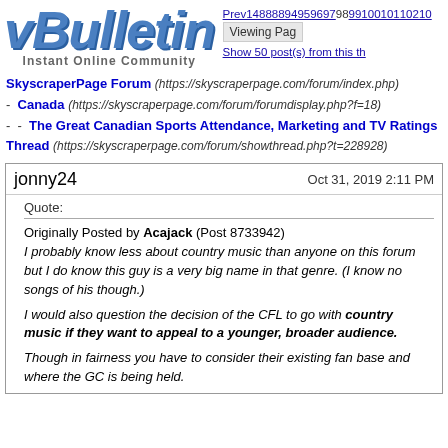[Figure (logo): vBulletin logo with 'Instant Online Community' tagline]
Prev14888894959697989910010110210...  Viewing Pag...  Show 50 post(s) from this th...
SkyscraperPage Forum (https://skyscraperpage.com/forum/index.php) - Canada (https://skyscraperpage.com/forum/forumdisplay.php?f=18) -  - The Great Canadian Sports Attendance, Marketing and TV Ratings Thread (https://skyscraperpage.com/forum/showthread.php?t=228928)
jonny24  Oct 31, 2019 2:11 PM
Quote:
Originally Posted by Acajack (Post 8733942)
I probably know less about country music than anyone on this forum but I do know this guy is a very big name in that genre. (I know no songs of his though.)

I would also question the decision of the CFL to go with country music if they want to appeal to a younger, broader audience.

Though in fairness you have to consider their existing fan base and where the GC is being held.